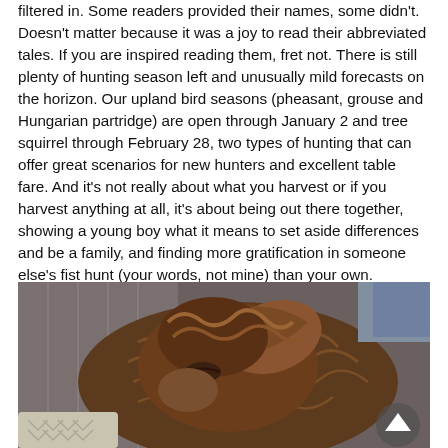filtered in. Some readers provided their names, some didn't. Doesn't matter because it was a joy to read their abbreviated tales. If you are inspired reading them, fret not. There is still plenty of hunting season left and unusually mild forecasts on the horizon. Our upland bird seasons (pheasant, grouse and Hungarian partridge) are open through January 2 and tree squirrel through February 28, two types of hunting that can offer great scenarios for new hunters and excellent table fare. And it's not really about what you harvest or if you harvest anything at all, it's about being out there together, showing a young boy what it means to set aside differences and be a family, and finding more gratification in someone else's fist hunt (your words, not mine) than your own.
[Figure (photo): A close-up photo of a brown dog resting its head, appearing to be sleeping or relaxing on a gray surface. The dog has fluffy, wavy brown fur. A scroll-up arrow button is visible in the lower right corner of the image.]